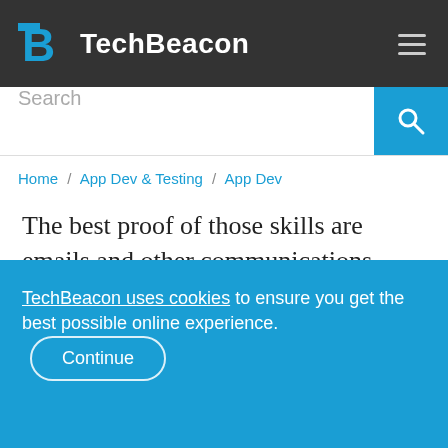TechBeacon
Search
Home / App Dev & Testing / App Dev
The best proof of those skills are emails and other communications from coworkers praising your skills, says Reed. So is a list of coworkers who can describe how your skills helped the business.
TechBeacon uses cookies to ensure you get the best possible online experience. Continue